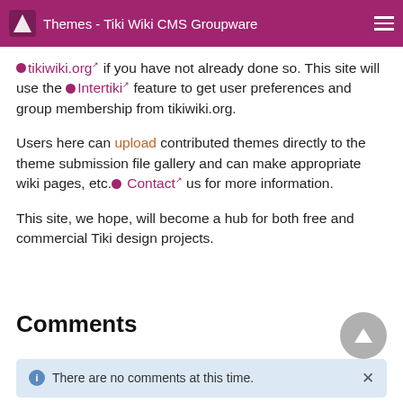Themes - Tiki Wiki CMS Groupware
tikiwiki.org if you have not already done so. This site will use the Intertiki feature to get user preferences and group membership from tikiwiki.org.
Users here can upload contributed themes directly to the theme submission file gallery and can make appropriate wiki pages, etc. Contact us for more information.
This site, we hope, will become a hub for both free and commercial Tiki design projects.
Comments
There are no comments at this time.